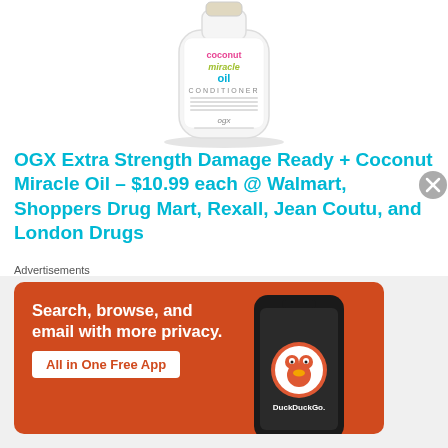[Figure (photo): OGX Extra Strength Damage Remedy + Coconut Miracle Oil conditioner bottle, white plastic bottle with colorful logo text]
OGX Extra Strength Damage Ready + Coconut Miracle Oil – $10.99 each @ Walmart, Shoppers Drug Mart, Rexall, Jean Coutu, and London Drugs
There are plenty of skincare and beauty lines out there dedicated to mamas, but lets not forget about her mane! It's been through a lot my friends – but luckily there are
Advertisements
[Figure (screenshot): DuckDuckGo advertisement banner: orange background with white phone mockup. Text reads 'Search, browse, and email with more privacy. All in One Free App'. DuckDuckGo logo visible on phone screen.]